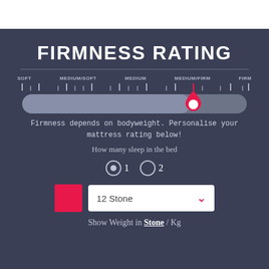FIRMNESS RATING
[Figure (infographic): A horizontal firmness slider scale showing positions: SOFT, MEDIUM/SOFT, MEDIUM, MEDIUM/FIRM, FIRM. A pink drop/teardrop marker and white circle indicator are positioned at the MEDIUM/FIRM position.]
Firmness depends on bodyweight. Personalise your mattress rating below!
How many sleep in the bed
1   2 (radio button options, 1 selected)
12 Stone (dropdown selector)
Show Weight in Stone / Kg